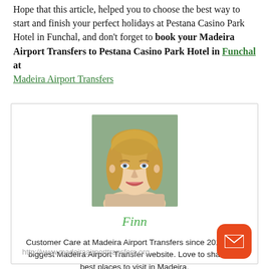Hope that this article, helped you to choose the best way to start and finish your perfect holidays at Pestana Casino Park Hotel in Funchal, and don't forget to book your Madeira Airport Transfers to Pestana Casino Park Hotel in Funchal at Madeira Airport Transfers
[Figure (photo): Author photo: smiling young blonde woman with green background]
Finn
Customer Care at Madeira Airport Transfers since 2010. The biggest Madeira Airport Transfer website. Love to share the best places to visit in Madeira.
http://www.madeiraairporttransfers.org